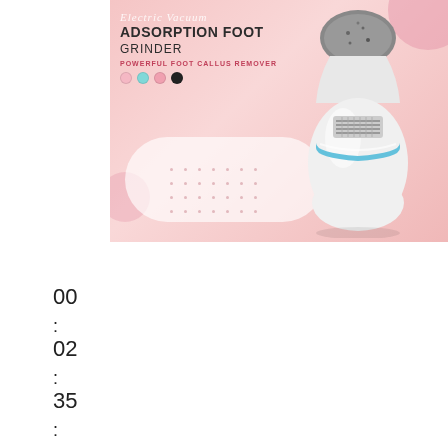[Figure (photo): Electric Vacuum Adsorption Foot Grinder product image on pink background. White egg-shaped electric callus remover device with gray grinding head on top, blue LED ring accent, ventilation grill in middle, displayed on pink gradient background with decorative circles and dot pattern. Text overlay reads 'Electric Vacuum ADSORPTION FOOT GRINDER POWERFUL FOOT CALLUS REMOVER' with four color option dots.]
00
:
02
:
35
: